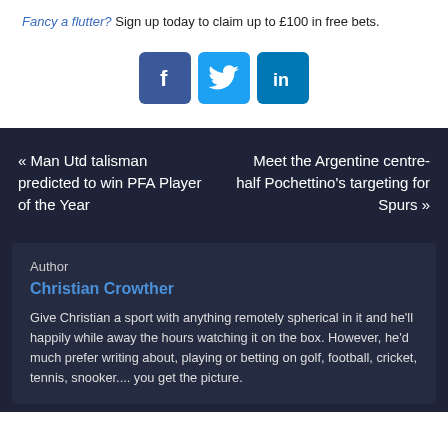Fancy a flutter? Sign up today to claim up to £100 in free bets.
[Figure (infographic): Three social media share buttons: Facebook (blue), Twitter (light blue), LinkedIn (teal-blue)]
« Man Utd talisman predicted to win PFA Player of the Year
Meet the Argentine centre-half Pochettino's targeting for Spurs »
Author
Christian Crowther
Give Christian a sport with anything remotely spherical in it and he'll happily while away the hours watching it on the box. However, he'd much prefer writing about, playing or betting on golf, football, cricket, tennis, snooker.... you get the picture.